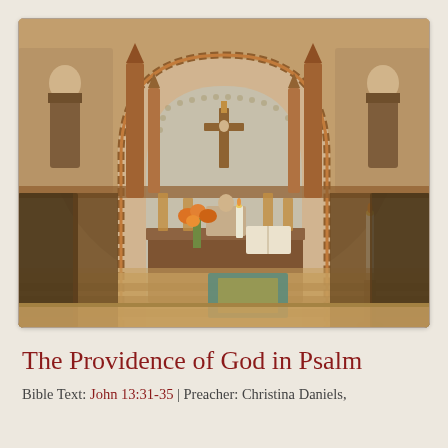[Figure (photo): Interior of a church showing an ornate wooden altar with a carved arch, Byzantine-style mosaic or fresco murals depicting saints on the apse wall, a crucifix in the center, orange flowers, candles, and open books on the altar. Wooden pews in the foreground, blurred. Rich red-brown woodwork with decorative columns.]
The Providence of God in Psalm
Bible Text: John 13:31-35 | Preacher: Christina Daniels,